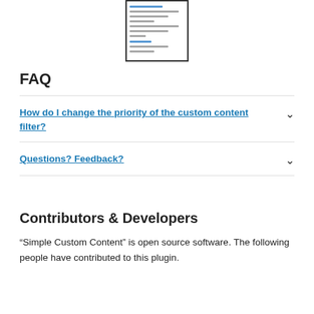[Figure (screenshot): A small thumbnail screenshot of a document page]
FAQ
How do I change the priority of the custom content filter?
Questions? Feedback?
Contributors & Developers
“Simple Custom Content” is open source software. The following people have contributed to this plugin.